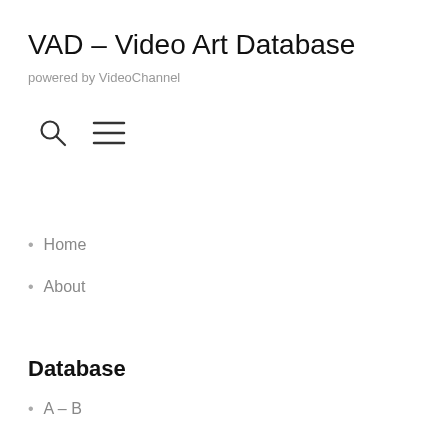VAD – Video Art Database
powered by VideoChannel
[Figure (illustration): Search icon (magnifying glass) and hamburger menu icon (three horizontal lines)]
Home
About
Database
A – B